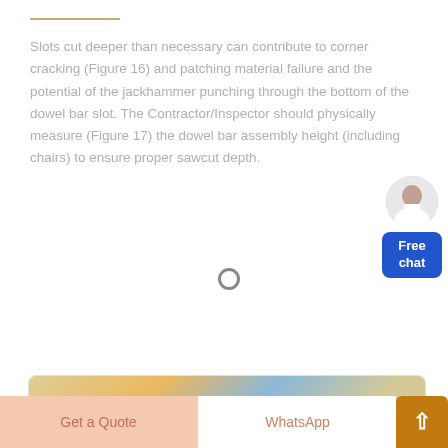Slots cut deeper than necessary can contribute to corner cracking (Figure 16) and patching material failure and the potential of the jackhammer punching through the bottom of the dowel bar slot. The Contractor/Inspector should physically measure (Figure 17) the dowel bar assembly height (including chairs) to ensure proper sawcut depth.
[Figure (illustration): Read More button with peach/tan background and rounded corners]
[Figure (photo): Industrial/construction photo showing heavy machinery and equipment in a warehouse or plant setting]
[Figure (infographic): Bottom navigation bar with Get a Quote button, WhatsApp text, and orange arrow-up button]